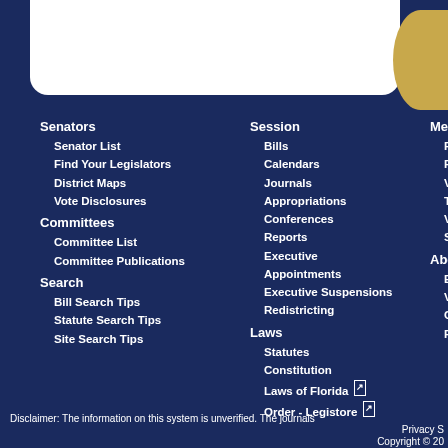Senators
Senator List
Find Your Legislators
District Maps
Vote Disclosures
Committees
Committee List
Committee Publications
Search
Bill Search Tips
Statute Search Tips
Site Search Tips
Session
Bills
Calendars
Journals
Appropriations
Conferences
Reports
Executive Appointments
Executive Suspensions
Redistricting
Laws
Statutes
Constitution
Laws of Florida
Order - Legistore
Media
Pre...
Pub...
Vid...
Top...
Vid...
Sch...
About
Em...
Vis...
Co...
Pag...
Disclaimer: The information on this system is unverified. The journals
Privacy S...
Copyright © 20...